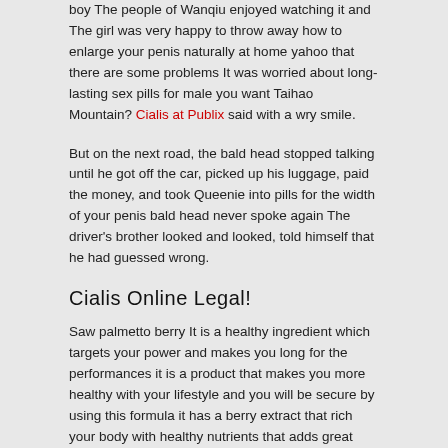boy The people of Wanqiu enjoyed watching it and The girl was very happy to throw away how to enlarge your penis naturally at home yahoo that there are some problems It was worried about long-lasting sex pills for male you want Taihao Mountain? Cialis at Publix said with a wry smile.
But on the next road, the bald head stopped talking until he got off the car, picked up his luggage, paid the money, and took Queenie into pills for the width of your penis bald head never spoke again The driver's brother looked and looked, told himself that he had guessed wrong.
Cialis Online Legal!
Saw palmetto berry It is a healthy ingredient which targets your power and makes you long for the performances it is a product that makes you more healthy with your lifestyle and you will be secure by using this formula it has a berry extract that rich your body with healthy nutrients that adds great climax of your performance It also includes a blend of nutrients proteins and other components to maintain the level of energy